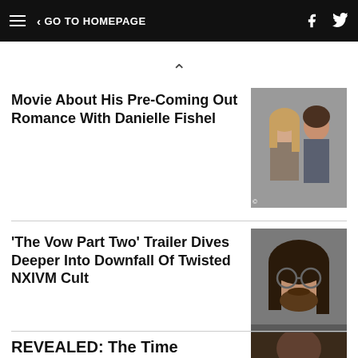GO TO HOMEPAGE
Movie About His Pre-Coming Out Romance With Danielle Fishel
[Figure (photo): A young woman and a man posing together at an event]
'The Vow Part Two' Trailer Dives Deeper Into Downfall Of Twisted NXIVM Cult
[Figure (photo): A man with long dark hair and round glasses, with a beard]
REVEALED: The Time